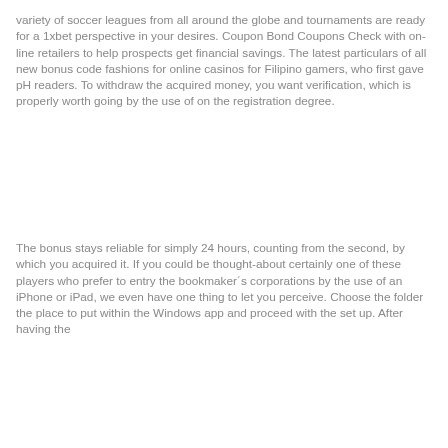variety of soccer leagues from all around the globe and tournaments are ready for a 1xbet perspective in your desires. Coupon Bond Coupons Check with on-line retailers to help prospects get financial savings. The latest particulars of all new bonus code fashions for online casinos for Filipino gamers, who first gave pH readers. To withdraw the acquired money, you want verification, which is properly worth going by the use of on the registration degree.
The bonus stays reliable for simply 24 hours, counting from the second, by which you acquired it. If you could be thought-about certainly one of these players who prefer to entry the bookmaker´s corporations by the use of an iPhone or iPad, we even have one thing to let you perceive. Choose the folder the place to put within the Windows app and proceed with the set up. After having the